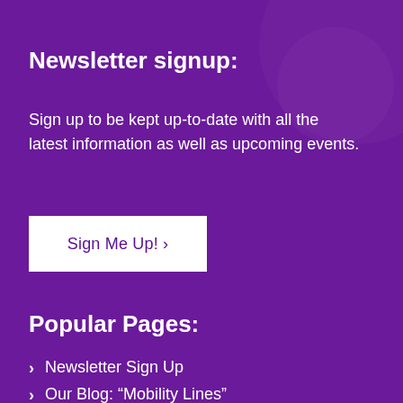Newsletter signup:
Sign up to be kept up-to-date with all the latest information as well as upcoming events.
[Figure (other): White rectangular button with purple text reading 'Sign Me Up! >']
Popular Pages:
Newsletter Sign Up
Our Blog: “Mobility Lines”